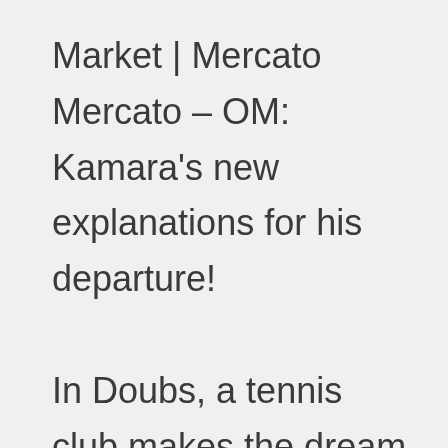Market | Mercato Mercato – OM: Kamara's new explanations for his departure!
In Doubs, a tennis club makes the dream of a blind young man come true thanks to sound balls
Clare Shine: Glasgow City and Republic of Ireland footballer in